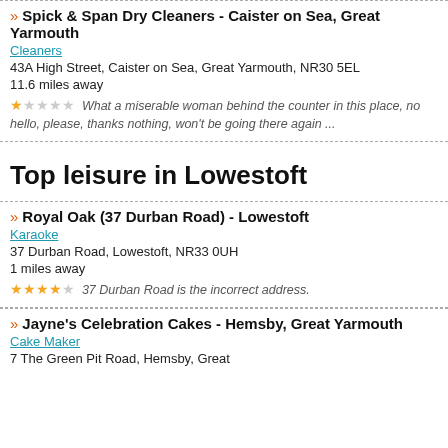Spick & Span Dry Cleaners - Caister on Sea, Great Yarmouth
Cleaners
43A High Street, Caister on Sea, Great Yarmouth, NR30 5EL
11.6 miles away
★☆☆☆☆ What a miserable woman behind the counter in this place, no hello, please, thanks nothing, won't be going there again ...
Top leisure in Lowestoft
Royal Oak (37 Durban Road) - Lowestoft
Karaoke
37 Durban Road, Lowestoft, NR33 0UH
1 miles away
★★★★☆ 37 Durban Road is the incorrect address.
Jayne's Celebration Cakes - Hemsby, Great Yarmouth
Cake Maker
7 The Green Pit Road, Hemsby, Great